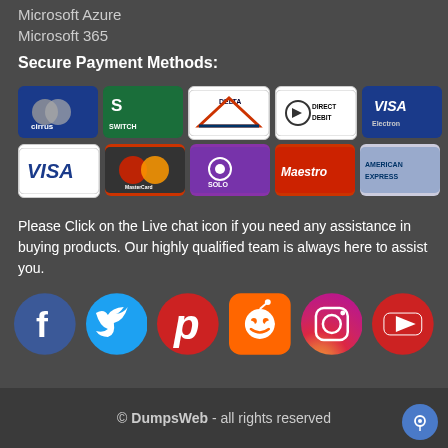Microsoft Azure
Microsoft 365
Secure Payment Methods:
[Figure (other): Payment method icons: Cirrus, Switch, Delta, Direct Debit, Visa Electron, Visa, MasterCard, Solo, Maestro, American Express]
Please Click on the Live chat icon if you need any assistance in buying products. Our highly qualified team is always here to assist you.
[Figure (other): Social media icons: Facebook, Twitter, Pinterest, Reddit, Instagram, YouTube]
© DumpsWeb - all rights reserved